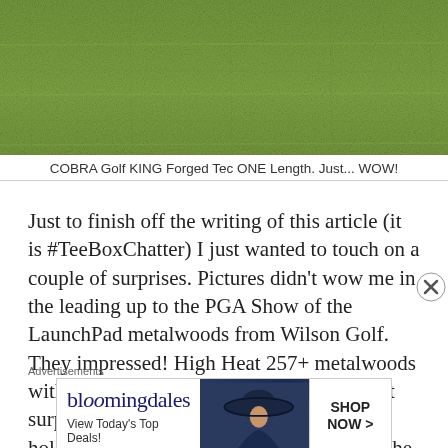[Figure (photo): A close-up photograph of green grass, likely a golf course fairway or rough, showing dense turf with varying shades of green.]
COBRA Golf KING Forged Tec ONE Length. Just... WOW!
Just to finish off the writing of this article (it is #TeeBoxChatter) I just wanted to touch on a couple of surprises. Pictures didn't wow me in the leading up to the PGA Show of the LaunchPad metalwoods from Wilson Golf. They impressed! High Heat 257+ metalwoods with TGS (Turf Glide Sole) were a pleasant surprise. Hitting the hybrid out of a literal hole (massive divot) was easy. It might be the most forgiving
Advertisements
[Figure (other): Bloomingdale's advertisement banner showing the Bloomingdale's logo with stylized text, tagline 'View Today's Top Deals!', an image of a woman in a large hat, and a 'SHOP NOW >' button.]